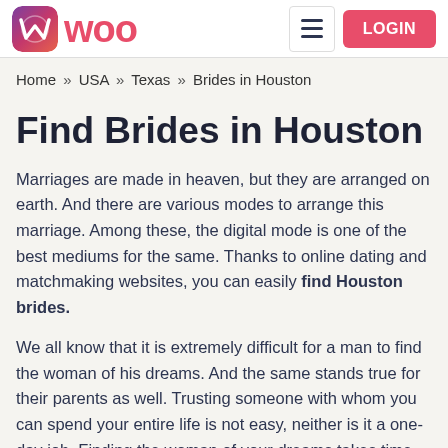WOO — LOGIN
Home » USA » Texas » Brides in Houston
Find Brides in Houston
Marriages are made in heaven, but they are arranged on earth. And there are various modes to arrange this marriage. Among these, the digital mode is one of the best mediums for the same. Thanks to online dating and matchmaking websites, you can easily find Houston brides.
We all know that it is extremely difficult for a man to find the woman of his dreams. And the same stands true for their parents as well. Trusting someone with whom you can spend your entire life is not easy, neither is it a one-day job. Finding the woman of your dreams takes time and a lot of effort.